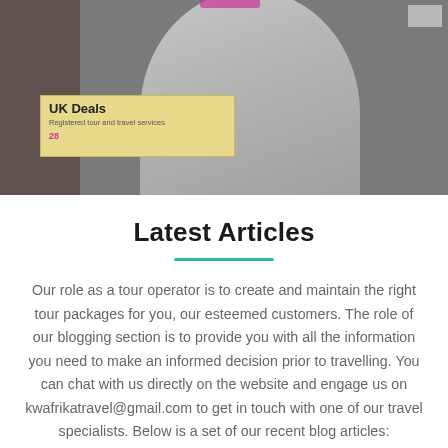[Figure (photo): Partial top photo showing a person in a light-colored jacket/hoodie standing in front of what appears to be a notice board with a yellow sign reading 'UK Deals' and text below it. The image is partially cropped at the top.]
Latest Articles
Our role as a tour operator is to create and maintain the right tour packages for you, our esteemed customers. The role of our blogging section is to provide you with all the information you need to make an informed decision prior to travelling. You can chat with us directly on the website and engage us on kwafrikatravel@gmail.com to get in touch with one of our travel specialists. Below is a set of our recent blog articles: